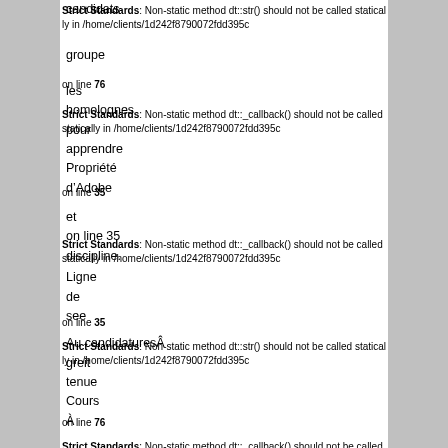candidats
Strict Standards: Non-static method dt::str() should not be called statically in /home/clients/1d242f8790072fdd395c on line 76
groupe
Strict Standards: Non-static method dt::_callback() should not be called statically in /home/clients/1d242f8790072fdd395c on line 35
les
homolognes
pour
apprendre
Propriété
d'Adobe
Strict Standards: Non-static method dt::_callback() should not be called statically in /home/clients/1d242f8790072fdd395c on line 35
et
on line 35
discipline.
Ligne
de
see
Strict Standards: Non-static method dt::str() should not be called statically in /home/clients/1d242f8790072fdd395c on line 76
Au candidatures
greit
tenue
Cours
À
Strict Standards: Non-static method dt::_callback() should not be called statically in